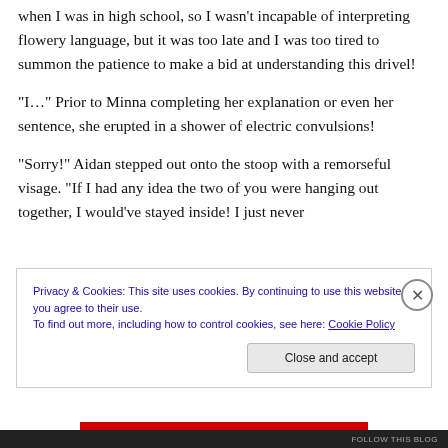when I was in high school, so I wasn't incapable of interpreting flowery language, but it was too late and I was too tired to summon the patience to make a bid at understanding this drivel!
“I…” Prior to Minna completing her explanation or even her sentence, she erupted in a shower of electric convulsions!
“Sorry!” Aidan stepped out onto the stoop with a remorseful visage. “If I had any idea the two of you were hanging out together, I would’ve stayed inside! I just never
Privacy & Cookies: This site uses cookies. By continuing to use this website, you agree to their use.
To find out more, including how to control cookies, see here: Cookie Policy
Close and accept